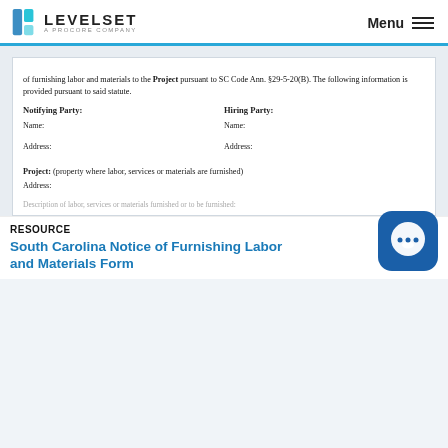LEVELSET — A PROCORE COMPANY | Menu
of furnishing labor and materials to the Project pursuant to SC Code Ann. §29-5-20(B). The following information is provided pursuant to said statute.
Notifying Party:
Name:
Address:

Hiring Party:
Name:
Address:
Project: (property where labor, services or materials are furnished)
Address:
(partial/cut-off line at bottom of document area)
RESOURCE
South Carolina Notice of Furnishing Labor and Materials Form